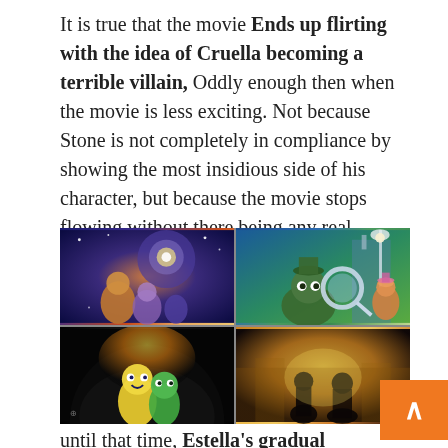It is true that the movie Ends up flirting with the idea of Cruella becoming a terrible villain, Oddly enough then when the movie is less exciting. Not because Stone is not completely in compliance by showing the most insidious side of his character, but because the movie stops flowing without there being any real determination to follow that path.
[Figure (photo): A 2x2 grid of animated/movie images: top-left shows a fantasy animated movie scene with glowing characters and starry background; top-right shows animated cartoon mice/animals with a magnifying glass detective scene; bottom-left shows animated colorful characters (appears to be Inside Out style) against a dark circular background; bottom-right shows a live-action movie scene with warm golden lighting and figures silhouetted.]
until that time, Estella's gradual transformation into Cruella He's been taken care of, striving to show off his aspirations and as a great revealing